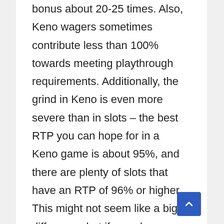bonus about 20-25 times. Also, Keno wagers sometimes contribute less than 100% towards meeting playthrough requirements. Additionally, the grind in Keno is even more severe than in slots – the best RTP you can hope for in a Keno game is about 95%, and there are plenty of slots that have an RTP of 96% or higher. This might not seem like a big difference, but if you place hundreds of wagers, compounding is going to work its magic and that 1% will turn into a